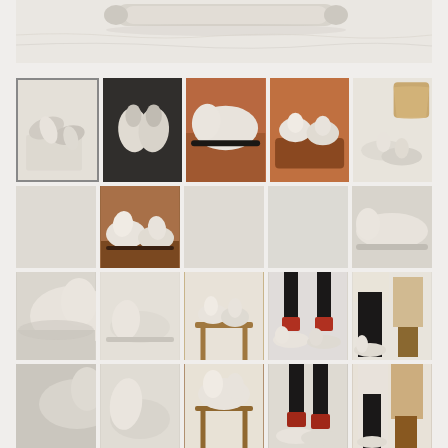[Figure (photo): Top banner: close-up of white/cream wool felt slippers on white linen background, showing a narrow rolled/cylindrical cushion or bolster]
[Figure (photo): Grid of product photos showing cream/white felt wool slippers from various angles - top view pair on mat, overhead pair, side close-up, on wooden riser, with basket, detail shots, and lifestyle shots with person wearing them]
[Figure (photo): Row 2: light gray placeholder, close-up of slippers on wood riser, gray placeholder, gray placeholder, side profile slipper close-up]
[Figure (photo): Row 3: close-up curved edge of slipper, single slipper on white floor, slippers on wooden stool, person wearing slippers with red socks, lifestyle shot with person in slippers near basket]